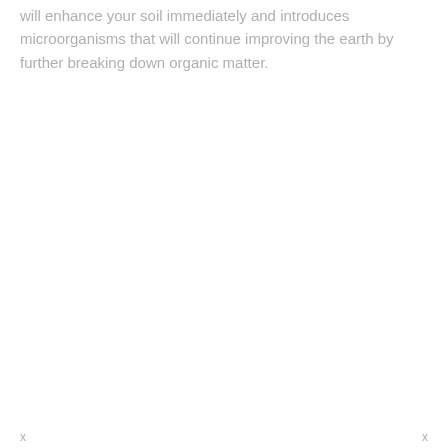will enhance your soil immediately and introduces microorganisms that will continue improving the earth by further breaking down organic matter.
x                              x